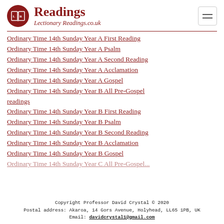Readings — Lectionary Readings.co.uk
Ordinary Time 14th Sunday Year A First Reading
Ordinary Time 14th Sunday Year A Psalm
Ordinary Time 14th Sunday Year A Second Reading
Ordinary Time 14th Sunday Year A Acclamation
Ordinary Time 14th Sunday Year A Gospel
Ordinary Time 14th Sunday Year B All Pre-Gospel readings
Ordinary Time 14th Sunday Year B First Reading
Ordinary Time 14th Sunday Year B Psalm
Ordinary Time 14th Sunday Year B Second Reading
Ordinary Time 14th Sunday Year B Acclamation
Ordinary Time 14th Sunday Year B Gospel
Ordinary Time 14th Sunday Year C All Pre-Gospel...
Copyright Professor David Crystal © 2020
Postal address: Akaroa, 14 Gors Avenue, Holyhead, LL65 1PB, UK
Email: davidcrystal1@gmail.com